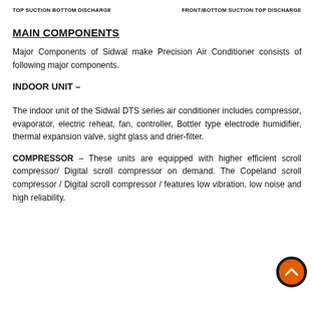TOP SUCTION BOTTOM DISCHARGE    FRONT/BOTTOM SUCTION TOP DISCHARGE
MAIN COMPONENTS
Major Components of Sidwal make Precision Air Conditioner consists of following major components.
INDOOR UNIT –
The indoor unit of the Sidwal DTS series air conditioner includes compressor, evaporator, electric reheat, fan, controller, Bottler type electrode humidifier, thermal expansion valve, sight glass and drier-filter.
COMPRESSOR – These units are equipped with higher efficient scroll compressor/ Digital scroll compressor on demand. The Copeland scroll compressor / Digital scroll compressor / features low vibration, low noise and high reliability.